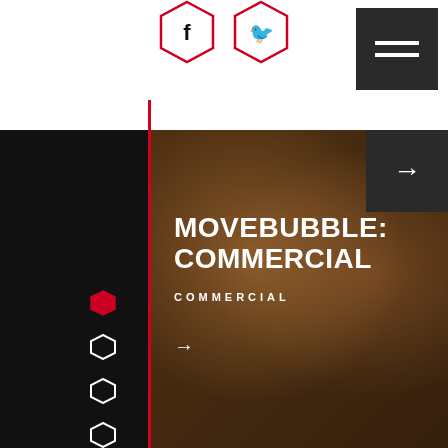Social media icons (Facebook, Twitter) and hamburger menu
[Figure (screenshot): Website screenshot showing Movebubble Commercial page. Dark background image of two smiling people looking at a phone. Left black sidebar with red vertical accent line and hexagonal navigation dots. Red-filled hexagon indicates active state. Title reads MOVEBUBBLE: COMMERCIAL in large white bold uppercase text. Below is COMMERCIAL label in spaced uppercase. Arrow navigation elements present.]
MOVEBUBBLE: COMMERCIAL
COMMERCIAL